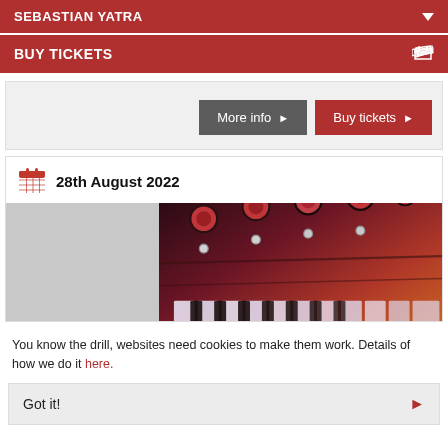SEBASTIAN YATRA
BUY TICKETS
More info ▶  Buy tickets ▶
28th August 2022
[Figure (photo): Close-up photo of a synthesizer keyboard with red-lit knobs and keys]
You know the drill, websites need cookies to make them work. Details of how we do it here.
Got it!